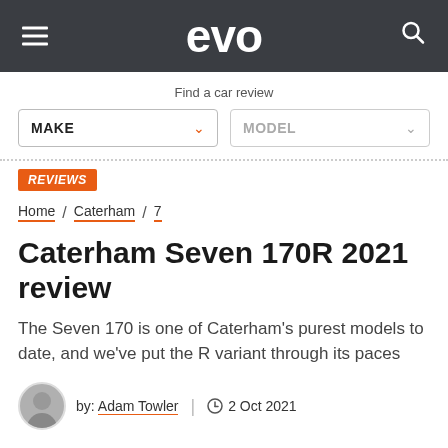evo
Find a car review
MAKE | MODEL
REVIEWS
Home / Caterham / 7
Caterham Seven 170R 2021 review
The Seven 170 is one of Caterham's purest models to date, and we've put the R variant through its paces
by: Adam Towler | 2 Oct 2021